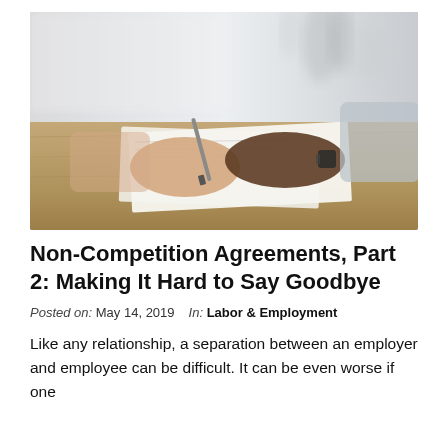[Figure (photo): Two people at a desk — one holding a pen signing documents, another pointing at the paper with a watch on their wrist. Professional contract-signing scene on a wooden desk.]
Non-Competition Agreements, Part 2: Making It Hard to Say Goodbye
Posted on: May 14, 2019    In: Labor & Employment
Like any relationship, a separation between an employer and employee can be difficult. It can be even worse if one